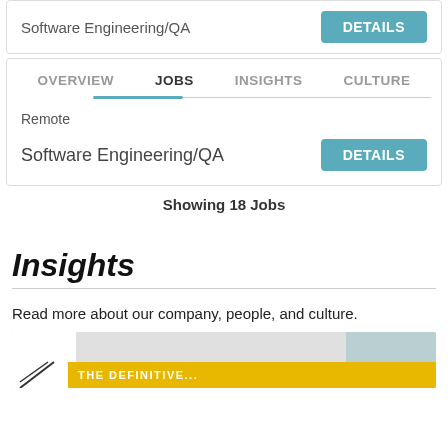Software Engineering/QA
DETAILS
OVERVIEW   JOBS   INSIGHTS   CULTURE
Remote
Software Engineering/QA
DETAILS
Showing 18 Jobs
Insights
Read more about our company, people, and culture.
[Figure (screenshot): Partial image of an article thumbnail with a yellow bar at the bottom containing partial text 'THE DEFINITIVE...' and a teal/grey image background]